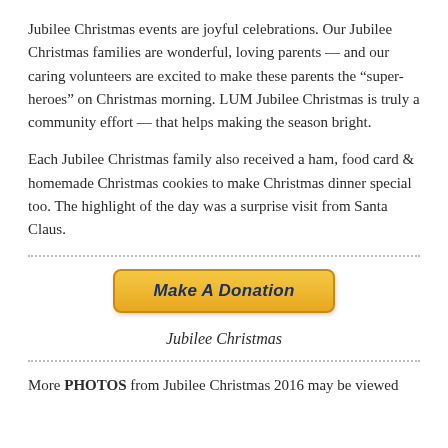Jubilee Christmas events are joyful celebrations. Our Jubilee Christmas families are wonderful, loving parents — and our caring volunteers are excited to make these parents the “super-heroes” on Christmas morning. LUM Jubilee Christmas is truly a community effort — that helps making the season bright.
Each Jubilee Christmas family also received a ham, food card & homemade Christmas cookies to make Christmas dinner special too. The highlight of the day was a surprise visit from Santa Claus.
[Figure (other): Orange donation button labeled 'Make A Donation' with italic bold text, centered on page]
Jubilee Christmas
More PHOTOS from Jubilee Christmas 2016 may be viewed